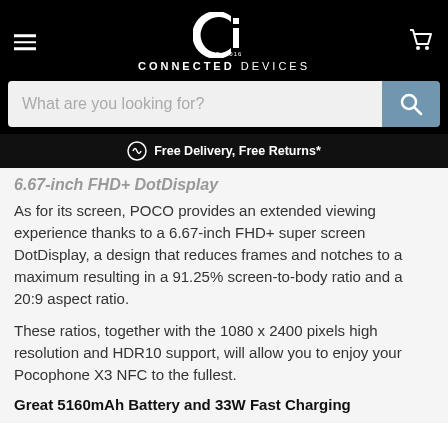CONNECTED DEVICES — EST. 2016
What are you looking for?
Free Delivery, Free Returns*
6.67-inch FHD+ DotDisplay
As for its screen, POCO provides an extended viewing experience thanks to a 6.67-inch FHD+ super screen DotDisplay, a design that reduces frames and notches to a maximum resulting in a 91.25% screen-to-body ratio and a 20:9 aspect ratio.
These ratios, together with the 1080 x 2400 pixels high resolution and HDR10 support, will allow you to enjoy your Pocophone X3 NFC to the fullest.
Great 5160mAh Battery and 33W Fast Charging